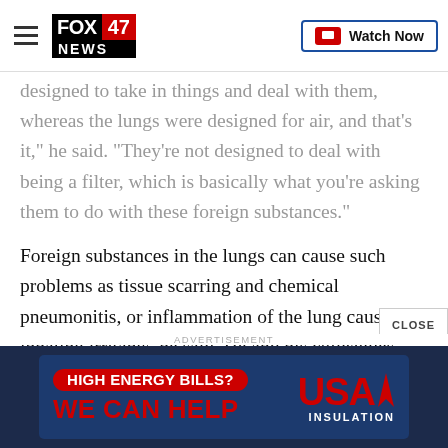FOX 47 NEWS | Watch Now
designed to take in things and deal with them, whereas the lungs were designed for air, and that's it," he said. "They're not designed to deal with being a filter, which is basically what you're asking them to do with these foreign substances."
Foreign substances in the lungs can cause such problems as tissue scarring and chemical pneumonitis, or inflammation of the lung caused by inhaling irritants, he said. He and his colleagues saw such issues in patients during a recent trend of snorting flavored sugar.
[Figure (advertisement): USA Insulation advertisement: HIGH ENERGY BILLS? WE CAN HELP with USA Insulation logo]
ADVERTISEMENT